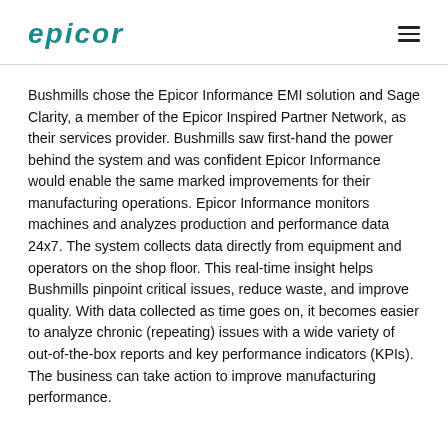epicor
Bushmills chose the Epicor Informance EMI solution and Sage Clarity, a member of the Epicor Inspired Partner Network, as their services provider. Bushmills saw first-hand the power behind the system and was confident Epicor Informance would enable the same marked improvements for their manufacturing operations. Epicor Informance monitors machines and analyzes production and performance data 24x7. The system collects data directly from equipment and operators on the shop floor. This real-time insight helps Bushmills pinpoint critical issues, reduce waste, and improve quality. With data collected as time goes on, it becomes easier to analyze chronic (repeating) issues with a wide variety of out-of-the-box reports and key performance indicators (KPIs). The business can take action to improve manufacturing performance.